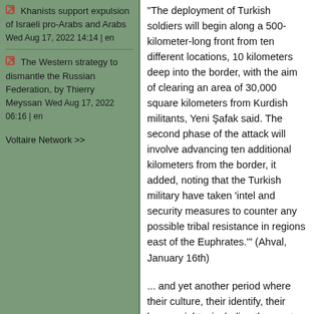Khanists support expulsion of Israeli pro-Arabs and Arabs Wed Aug 17, 2022 14:14 | en
The Western strategy to dismantle the Russian Federation, by Thierry Meyssan Wed Aug 17, 2022 06:16 | en
Voltaire Network >>
"The deployment of Turkish soldiers will begin along a 500-kilometer-long front from ten different locations, 10 kilometers deep into the border, with the aim of clearing an area of 30,000 square kilometers from Kurdish militants, Yeni Şafak said. The second phase of the attack will involve advancing ten additional kilometers from the border, it added, noting that the Turkish military have taken 'intel and security measures to counter any possible tribal resistance in regions east of the Euphrates.'" (Ahval, January 16th)
... and yet another period where their culture, their identify, their human rights, including the most basic, the right to life, will be violently suppressed, once again under the watchful if not predatory eye of these so-called “world powers..."
Peace, of course, is another option. Not being “good for business”, might be the reason why no-one (in power) is currently suggesting it?
Related Link:
https://www.globalrights.info/2019/01/one-year-on-from-afrin-and-now-east-of-the-euphrates-more-war/